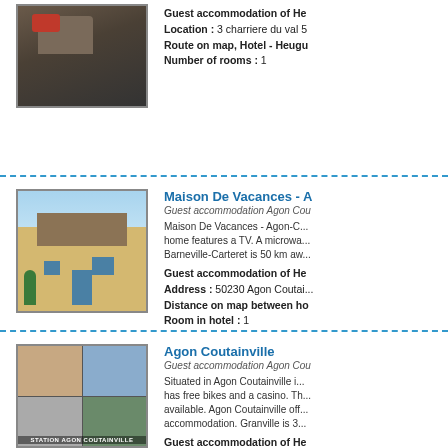Guest accommodation of He... Location : 3 charriere du val 5... Route on map, Hotel - Heugu... Number of rooms : 1
[Figure (photo): Interior photo of a room with dark sofa and red cushions]
[Figure (photo): Exterior photo of a yellow stone house with blue doors and shutters]
Maison De Vacances - A
Guest accommodation Agon Cou...
Maison De Vacances - Agon-C... home features a TV. A microwa... Barneville-Carteret is 50 km aw...
Guest accommodation of He... Address : 50230 Agon Coutai... Distance on map between ho... Room in hotel : 1
[Figure (photo): Four-grid collage of accommodation photos with label STATION AGON COUTAINVILLE]
Agon Coutainville
Guest accommodation Agon Cou...
Situated in Agon Coutainville i... has free bikes and a casino. T... available. Agon Coutainville of... accommodation. Granville is 3...
Guest accommodation of He... Location : 11 Rue Charles Da... Distance between hotel and...